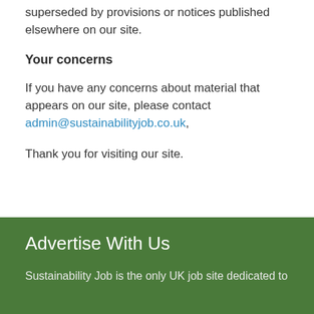superseded by provisions or notices published elsewhere on our site.
Your concerns
If you have any concerns about material that appears on our site, please contact admin@sustainabilityjob.co.uk,
Thank you for visiting our site.
Advertise With Us
Sustainability Job is the only UK job site dedicated to